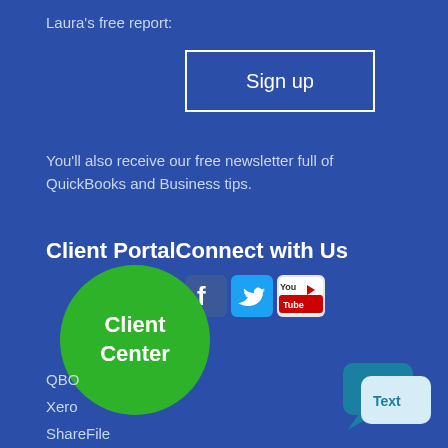Laura's free report:
Sign up
You'll also receive our free newsletter full of QuickBooks and Business tips.
Client PortalConnect with Us
[Figure (logo): Social media icons: Facebook, Twitter, YouTube]
[Figure (logo): Green circle button labeled 'Client Center']
QBO
Xero
ShareFile
LivePlan
Zoom Meeting
[Figure (illustration): Chat bubble / text icon in bottom right corner with 'Text' label]